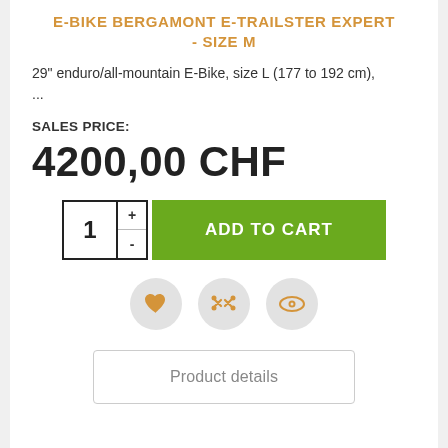E-BIKE BERGAMONT E-TRAILSTER EXPERT - SIZE M
29" enduro/all-mountain E-Bike, size L (177 to 192 cm), ...
SALES PRICE:
4200,00 CHF
[Figure (other): Quantity selector with +/- buttons showing value 1, and a green ADD TO CART button]
[Figure (other): Three circular icon buttons: heart (wishlist), shuffle/compare, and eye (watch)]
Product details